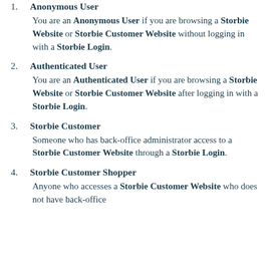1. Anonymous User
You are an Anonymous User if you are browsing a Storbie Website or Storbie Customer Website without logging in with a Storbie Login.
2. Authenticated User
You are an Authenticated User if you are browsing a Storbie Website or Storbie Customer Website after logging in with a Storbie Login.
3. Storbie Customer
Someone who has back-office administrator access to a Storbie Customer Website through a Storbie Login.
4. Storbie Customer Shopper
Anyone who accesses a Storbie Customer Website who does not have back-office